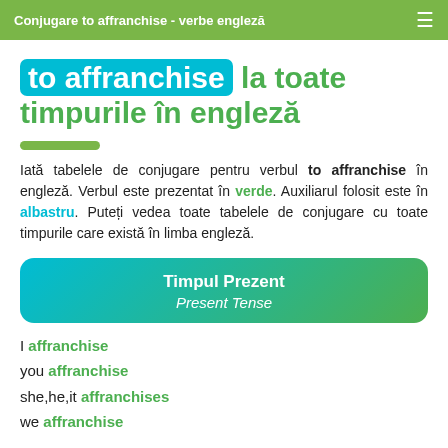Conjugare to affranchise - verbe engleză
to affranchise la toate timpurile în engleză
Iată tabelele de conjugare pentru verbul to affranchise în engleză. Verbul este prezentat în verde. Auxiliarul folosit este în albastru. Puteți vedea toate tabelele de conjugare cu toate timpurile care există în limba engleză.
Timpul Prezent / Present Tense
I affranchise
you affranchise
she,he,it affranchises
we affranchise